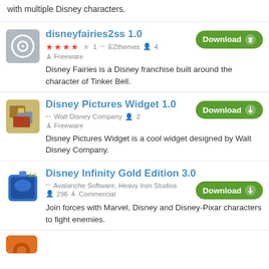with multiple Disney characters.
disneyfairies2ss 1.0 — ★★★★☆ 1 · EZthemes · 4 users · Freeware. Disney Fairies is a Disney franchise built around the character of Tinker Bell.
Disney Pictures Widget 1.0 — Walt Disney Company · 2 users · Freeware. Disney Pictures Widget is a cool widget designed by Walt Disney Company.
Disney Infinity Gold Edition 3.0 — Avalanche Software, Heavy Iron Studios · 296 users · Commercial. Join forces with Marvel, Disney and Disney-Pixar characters to fight enemies.